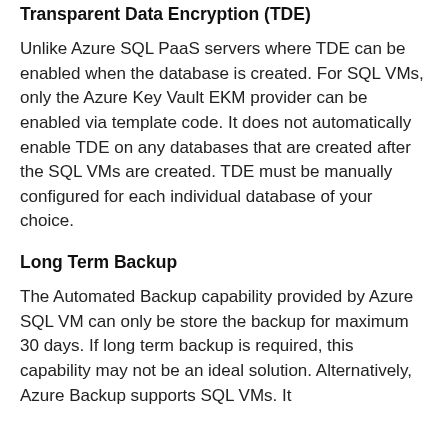Transparent Data Encryption (TDE)
Unlike Azure SQL PaaS servers where TDE can be enabled when the database is created. For SQL VMs, only the Azure Key Vault EKM provider can be enabled via template code. It does not automatically enable TDE on any databases that are created after the SQL VMs are created. TDE must be manually configured for each individual database of your choice.
Long Term Backup
The Automated Backup capability provided by Azure SQL VM can only be store the backup for maximum 30 days. If long term backup is required, this capability may not be an ideal solution. Alternatively, Azure Backup supports SQL VMs. It